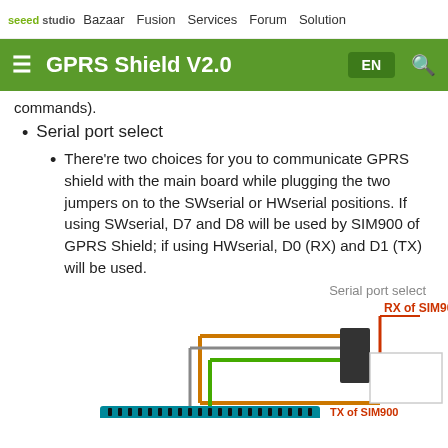seeed studio  Bazaar  Fusion  Services  Forum  Solution
GPRS Shield V2.0  EN
commands).
Serial port select
There're two choices for you to communicate GPRS shield with the main board while plugging the two jumpers on to the SWserial or HWserial positions. If using SWserial, D7 and D8 will be used by SIM900 of GPRS Shield; if using HWserial, D0 (RX) and D1 (TX) will be used.
Serial port select
[Figure (schematic): Serial port select diagram showing circuit board connector with jumper wires in orange, green, and gray, connecting to SIM900 chip. Labels indicate RX of SIM900 (red) and TX of SIM900 (red).]